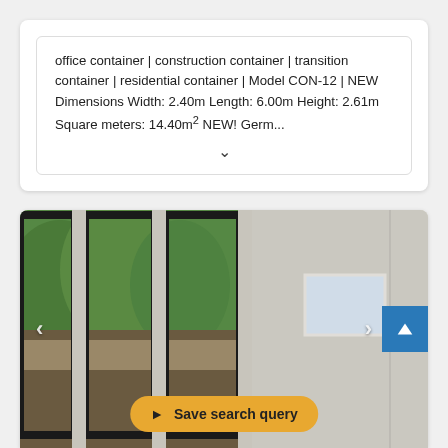office container | construction container | transition container | residential container | Model CON-12 | NEW Dimensions Width: 2.40m Length: 6.00m Height: 2.61m Square meters: 14.40m² NEW! Germ...
[Figure (photo): Interior photo of a modular container room with large black-framed floor-to-ceiling windows/sliding doors on the left showing green trees outside, white walls and ceiling, wood-effect laminate flooring, and a small white window on the right wall. Navigation arrows visible on both sides.]